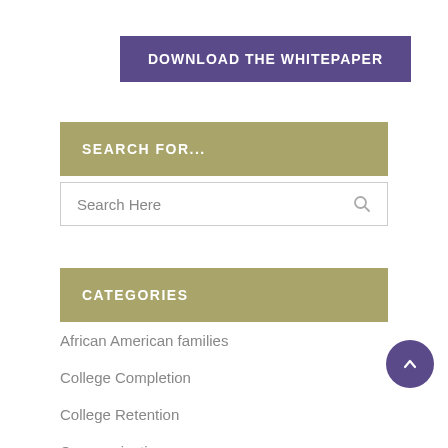DOWNLOAD THE WHITEPAPER
SEARCH FOR...
Search Here
CATEGORIES
African American families
College Completion
College Retention
Communication